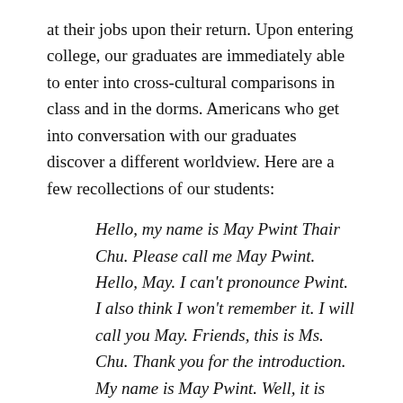at their jobs upon their return. Upon entering college, our graduates are immediately able to enter into cross-cultural comparisons in class and in the dorms. Americans who get into conversation with our graduates discover a different worldview. Here are a few recollections of our students:
Hello, my name is May Pwint Thair Chu. Please call me May Pwint. Hello, May. I can't pronounce Pwint. I also think I won't remember it. I will call you May. Friends, this is Ms. Chu. Thank you for the introduction. My name is May Pwint. Well, it is easier to remember your last name. I don't have a last name. I have four